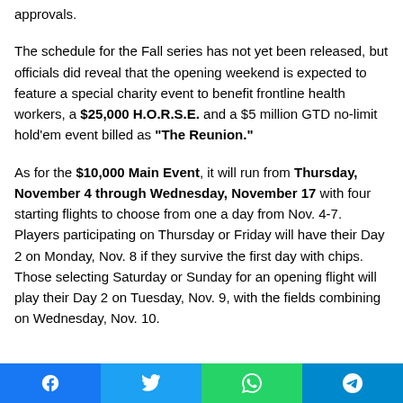approvals.
The schedule for the Fall series has not yet been released, but officials did reveal that the opening weekend is expected to feature a special charity event to benefit frontline health workers, a $25,000 H.O.R.S.E. and a $5 million GTD no-limit hold'em event billed as "The Reunion."
As for the $10,000 Main Event, it will run from Thursday, November 4 through Wednesday, November 17 with four starting flights to choose from one a day from Nov. 4-7. Players participating on Thursday or Friday will have their Day 2 on Monday, Nov. 8 if they survive the first day with chips. Those selecting Saturday or Sunday for an opening flight will play their Day 2 on Tuesday, Nov. 9, with the fields combining on Wednesday, Nov. 10.